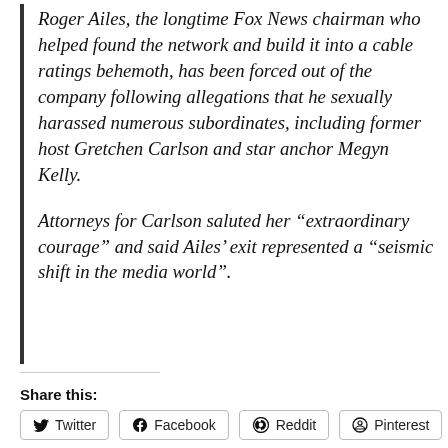Roger Ailes, the longtime Fox News chairman who helped found the network and build it into a cable ratings behemoth, has been forced out of the company following allegations that he sexually harassed numerous subordinates, including former host Gretchen Carlson and star anchor Megyn Kelly.

Attorneys for Carlson saluted her "extraordinary courage" and said Ailes' exit represented a "seismic shift in the media world".
Share this: